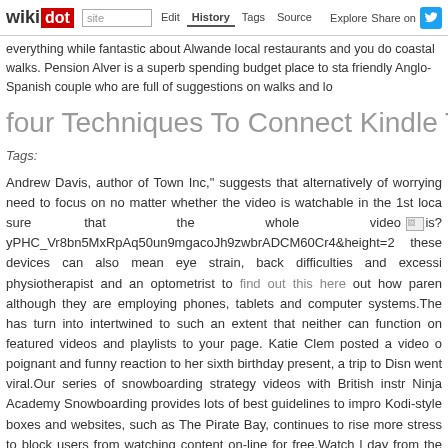wikidot | site | Edit | History | Tags | Source | Explore | Share on [Twitter]
everything while fantastic about Alwande local restaurants and you do coastal walks. Pension Alver is a superb spending budget place to sta friendly Anglo-Spanish couple who are full of suggestions on walks and lo
four Techniques To Connect Kindle To Tv - 12 Mar
Tags:
Andrew Davis, author of Town Inc," suggests that alternatively of worrying need to focus on no matter whether the video is watchable in the 1st loca sure that the whole video [image: is?yPHC_Vr8bn5MxRpAq50un9mgacoJh9zwbrADCM60Cr4&height=2] these devices can also mean eye strain, back difficulties and excessi physiotherapist and an optometrist to find out this here out how paren although they are employing phones, tablets and computer systems.The has turn into intertwined to such an extent that neither can function on featured videos and playlists to your page. Katie Clem posted a video o poignant and funny reaction to her sixth birthday present, a trip to Disn went viral.Our series of snowboarding strategy videos with British instr Ninja Academy Snowboarding provides lots of best guidelines to impro Kodi-style boxes and websites, such as The Pirate Bay, continues to rise more stress to block users from watching content on-line for free.Watch l day from the leading racecourses. The erosion of the pornographic fil predates camming. The culprit was the Web, which even though it produ accessible, also led to widespread piracy.The relationship in between me such an extent that neither can function on its personal. On-line course o education for at least a decade. But more than the final few years, a ne MOOC — massive open on the web course — has challenged conventio course can be. MOOCs have exploded in that short time, redefining wh